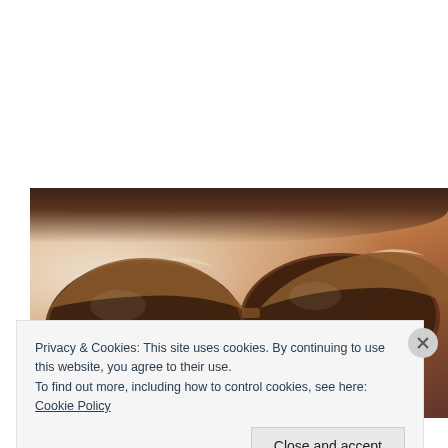[Figure (photo): Close-up photo of a woman wearing tortoiseshell cat-eye sunglasses, with a blurred warm indoor background. Only the top half of her face with the sunglasses is visible.]
Privacy & Cookies: This site uses cookies. By continuing to use this website, you agree to their use.
To find out more, including how to control cookies, see here: Cookie Policy